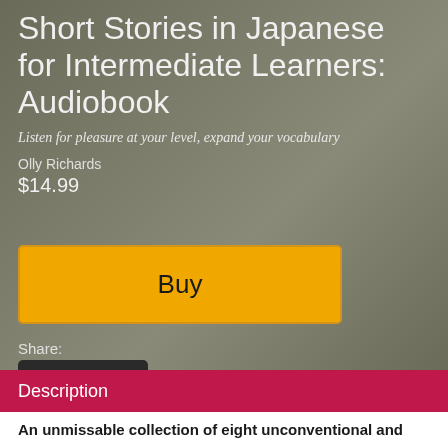Short Stories in Japanese for Intermediate Learners: Audiobook
Listen for pleasure at your level, expand your vocabulary
Olly Richards
$14.99
Buy
Share:
[Figure (other): Social share buttons: Facebook, Twitter, and share icon on dark background]
Description
An unmissable collection of eight unconventional and